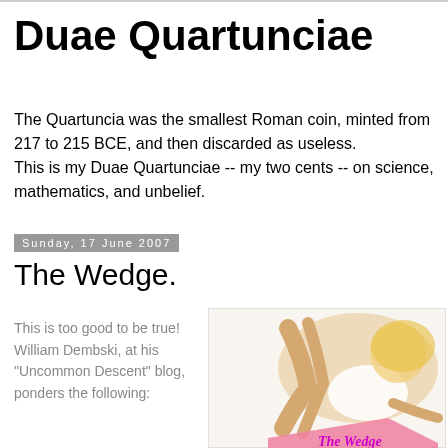Duae Quartunciae
The Quartuncia was the smallest Roman coin, minted from 217 to 215 BCE, and then discarded as useless. This is my Duae Quartunciae -- my two cents -- on science, mathematics, and unbelief.
Sunday, 17 June 2007
The Wedge.
This is too good to be true! William Dembski, at his "Uncommon Descent" blog, ponders the following:
[Figure (photo): A blonde woman in white clothing posing on a pink wedge-shaped pillow. Text overlay reads 'The Wedge' in pink cursive.]